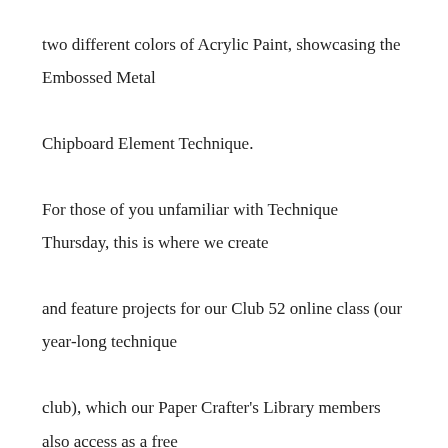two different colors of Acrylic Paint, showcasing the Embossed Metal Chipboard Element Technique.
For those of you unfamiliar with Technique Thursday, this is where we create and feature projects for our Club 52 online class (our year-long technique club), which our Paper Crafter's Library members also access as a free benefit of their membership.
If you're interested in checking out what we've covered so far, you can look at our Club 52 page. If you're a technique junkie and would like to learn new techniques (as many of them are ones we have created), or revisit old ones –